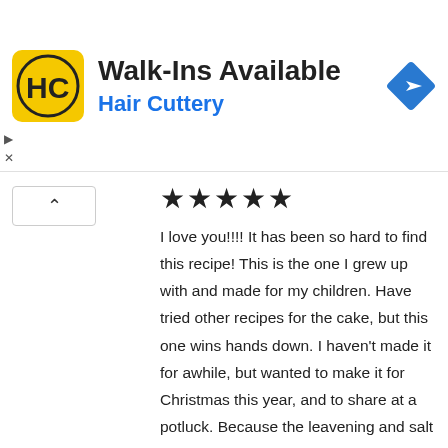[Figure (logo): Hair Cuttery advertisement banner with HC logo, 'Walk-Ins Available' title, 'Hair Cuttery' subtitle in blue, and a blue navigation/directions diamond icon]
★★★★★
I love you!!!! It has been so hard to find this recipe! This is the one I grew up with and made for my children. Have tried other recipes for the cake, but this one wins hands down. I haven't made it for awhile, but wanted to make it for Christmas this year, and to share at a potluck. Because the leavening and salt are small amounts, I am going to try it with Pamela's Gluten-Free Pancake and Baking Mix (for flour, baking powder and salt); the GF mix does have buttermilk in it, but I think that will just make it yummier. Wish me luck!